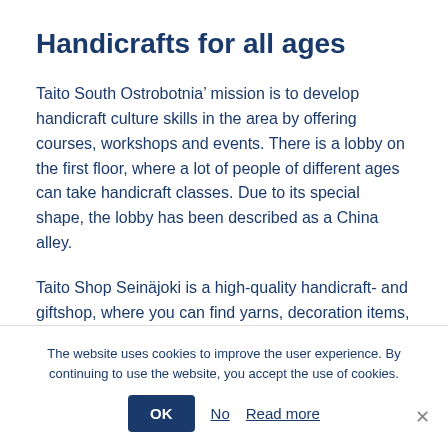Handicrafts for all ages
Taito South Ostrobotnia’ mission is to develop handicraft culture skills in the area by offering courses, workshops and events. There is a lobby on the first floor, where a lot of people of different ages can take handicraft classes. Due to its special shape, the lobby has been described as a China alley.
Taito Shop Seinäjoki is a high-quality handicraft- and giftshop, where you can find yarns, decoration items, souvenirs and much more!
The website uses cookies to improve the user experience. By continuing to use the website, you accept the use of cookies.